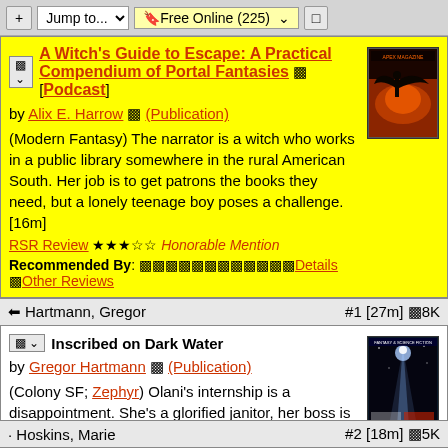+ Jump to... | 🔖Free Online (225) | 🔲
A Witch's Guide to Escape: A Practical Compendium of Portal Fantasies 🔖 [Podcast] by Alix E. Harrow 🔖 (Publication) (Modern Fantasy) The narrator is a witch who works in a public library somewhere in the rural American South. Her job is to get patrons the books they need, but a lonely teenage boy poses a challenge. [16m] RSR Review ★★★☆☆ Honorable Mention Recommended By: 🔖🔖🔖🔖🔖🔖🔖🔖🔖🔖🔖🔖Details 🔖Other Reviews
➡Hartmann, Gregor   #1 [27m] 🔖8K
Inscribed on Dark Water by Gregor Hartmann 🔖 (Publication) (Colony SF; Zephyr) Olani's internship is a disappointment. She's a glorified janitor, her boss is a religious fanatic, and now a crew of inspectors may shut the whole operation down. Which might also be an opportunity. [27m] RSR Review ★★★★★ Good characters, Cool Setting, Great Story Recommended By: 🔖🔖🔖🔖Details 🔖Other Reviews
· Hoskins, Marie   #2 [18m] 🔖5K